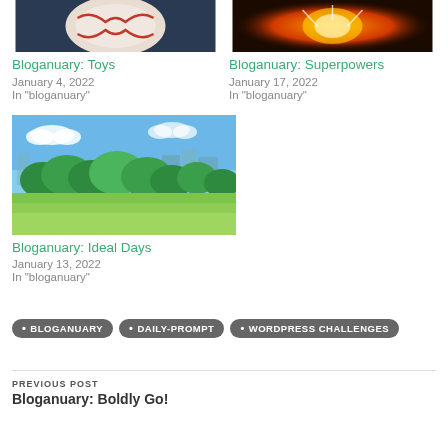[Figure (photo): Close-up of a baseball with red stitching on dark background]
Bloganuary: Toys
January 4, 2022
In "bloganuary"
[Figure (photo): Orange glowing superhero energy effects]
Bloganuary: Superpowers
January 17, 2022
In "bloganuary"
[Figure (photo): Green park with trees and city skyline in background under blue sky]
Bloganuary: Ideal Days
January 13, 2022
In "bloganuary"
BLOGANUARY
DAILY-PROMPT
WORDPRESS CHALLENGES
PREVIOUS POST
Bloganuary: Boldly Go!